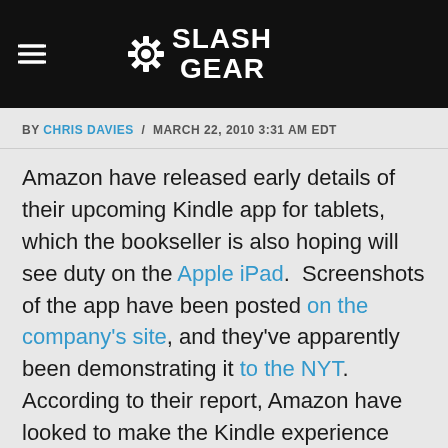SlashGear
BY CHRIS DAVIES / MARCH 22, 2010 3:31 AM EDT
Amazon have released early details of their upcoming Kindle app for tablets, which the bookseller is also hoping will see duty on the Apple iPad. Screenshots of the app have been posted on the company's site, and they've apparently been demonstrating it to the NYT. According to their report, Amazon have looked to make the Kindle experience more playful than on their standalone readers, taking advantage of the color display to add animated wallpapers and adjustable background colors.